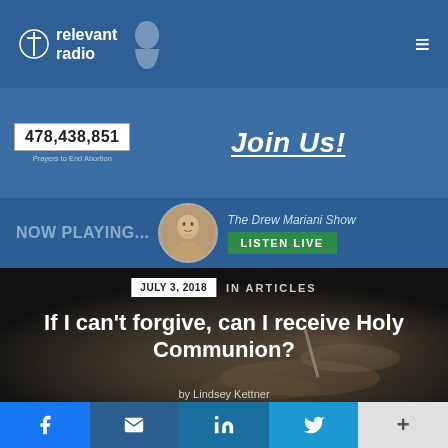relevant radio
478,438,851
Prayers to End Abortion
Join Us!
NOW PLAYING... The Drew Mariani Show LISTEN LIVE
[Figure (screenshot): Dark hero background image showing hands, possibly holding something, with dim religious/communion visual tone]
JULY 3, 2018  IN ARTICLES
If I can't forgive, can I receive Holy Communion?
by Lindsey Kettner
Facebook  Email  LinkedIn  Twitter  More (+)